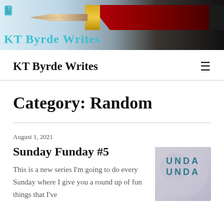[Figure (photo): Blog header banner with fountain pen on a light-to-dark gradient background, small teal book icon top-left, site title 'KT Byrde Writes' in teal at bottom-left]
KT Byrde Writes
Category: Random
August 1, 2021
Sunday Funday #5
This is a new series I'm going to do every Sunday where I give you a round up of fun things that I've
[Figure (photo): Book cover thumbnail showing text 'UNDA UNDA' in teal/blue letters on a blurred light background]